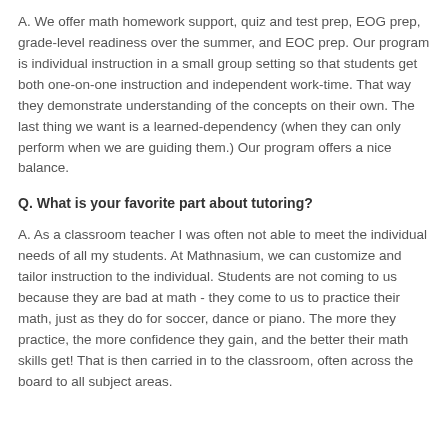A. We offer math homework support, quiz and test prep, EOG prep, grade-level readiness over the summer, and EOC prep. Our program is individual instruction in a small group setting so that students get both one-on-one instruction and independent work-time. That way they demonstrate understanding of the concepts on their own. The last thing we want is a learned-dependency (when they can only perform when we are guiding them.) Our program offers a nice balance.
Q. What is your favorite part about tutoring?
A. As a classroom teacher I was often not able to meet the individual needs of all my students. At Mathnasium, we can customize and tailor instruction to the individual. Students are not coming to us because they are bad at math - they come to us to practice their math, just as they do for soccer, dance or piano. The more they practice, the more confidence they gain, and the better their math skills get! That is then carried in to the classroom, often across the board to all subject areas.